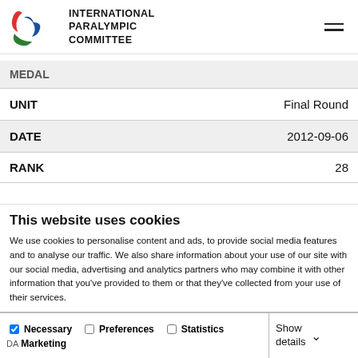INTERNATIONAL PARALYMPIC COMMITTEE
| Field | Value |
| --- | --- |
| MEDAL |  |
| UNIT | Final Round |
| DATE | 2012-09-06 |
| RANK | 28 |
This website uses cookies
We use cookies to personalise content and ads, to provide social media features and to analyse our traffic. We also share information about your use of our site with our social media, advertising and analytics partners who may combine it with other information that you've provided to them or that they've collected from your use of their services.
Allow all cookies
Allow selection
Use necessary cookies only
Necessary | Preferences | Statistics | Marketing | Show details